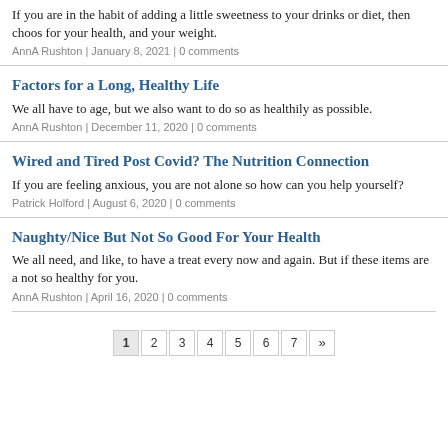If you are in the habit of adding a little sweetness to your drinks or diet, then choos for your health, and your weight.
AnnA Rushton | January 8, 2021 | 0 comments
Factors for a Long, Healthy Life
We all have to age, but we also want to do so as healthily as possible.
AnnA Rushton | December 11, 2020 | 0 comments
Wired and Tired Post Covid? The Nutrition Connection
If you are feeling anxious, you are not alone so how can you help yourself?
Patrick Holford | August 6, 2020 | 0 comments
Naughty/Nice But Not So Good For Your Health
We all need, and like, to have a treat every now and again. But if these items are a not so healthy for you.
AnnA Rushton | April 16, 2020 | 0 comments
1 2 3 4 5 6 7 »